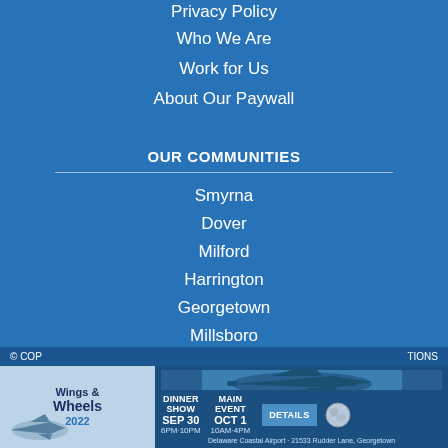Privacy Policy
Who We Are
Work for Us
About Our Paywall
OUR COMMUNITIES
Smyrna
Dover
Milford
Harrington
Georgetown
Millsboro
Seaford
Salisbury
Crisfield
Cambridge
© COP... IONS
[Figure (screenshot): Wings & Wheels 2022 advertisement banner showing an aircraft, with event details: DINNER SHOW SEP 30 6PM-10PM, MAIN EVENT OCT 1 10AM-4PM, Delaware Coastal Airport, 21553 Rudder Lane, Georgetown. DETAILS button on right.]